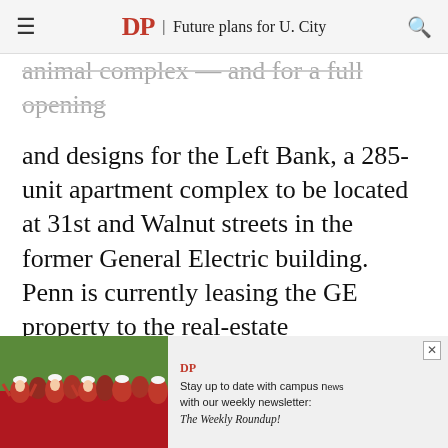DP | Future plans for U. City
animal complex — and for a full opening and designs for the Left Bank, a 285-unit apartment complex to be located at 31st and Walnut streets in the former General Electric building. Penn is currently leasing the GE property to the real-estate development firm Dranoff Properties.
Penn is also displaying its latest campus initiatives, focusing on the Mainwaring Wing that will be added to the University Museum and plans to renovate Hamilton Village
[Figure (photo): Ad banner with crowd of students in red shirts. Text reads: Stay up to date with campus news with our weekly newsletter: The Weekly Roundup!]